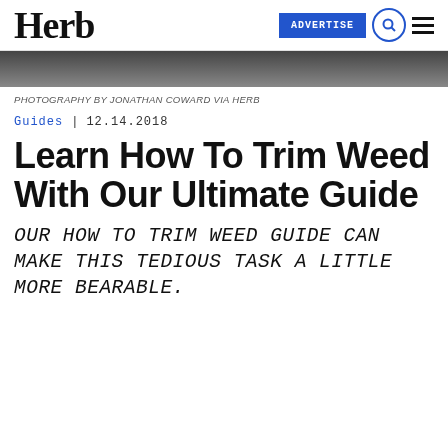Herb | ADVERTISE
[Figure (photo): Partial photograph visible at top of page, appears to be a dark/moody image]
PHOTOGRAPHY BY JONATHAN COWARD VIA HERB
Guides | 12.14.2018
Learn How To Trim Weed With Our Ultimate Guide
OUR HOW TO TRIM WEED GUIDE CAN MAKE THIS TEDIOUS TASK A LITTLE MORE BEARABLE.